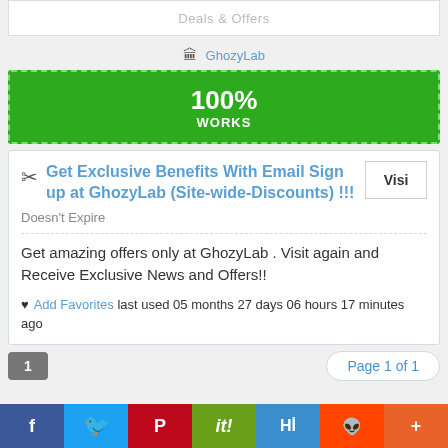Deals & Offers
🏛 GhozyLab
[Figure (other): Green button with dashed border showing 100% WORKS]
Get Exclusive Benefits With Email Sign up at GhozyLab (Site-wide-Discounts) !!!
Doesn't Expire
Get amazing offers only at GhozyLab . Visit again and Receive Exclusive News and Offers!!
♥ Add Favorites last used 05 months 27 days 06 hours 17 minutes ago
Page 1 of 1